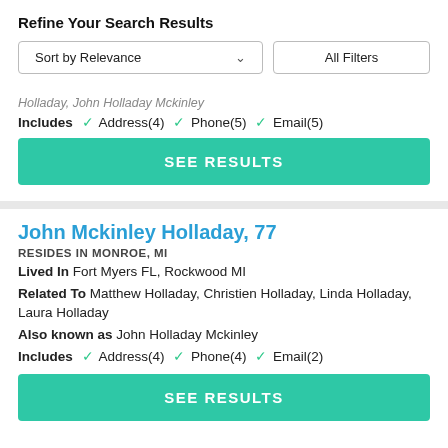Refine Your Search Results
[Figure (screenshot): Filter bar with Sort by Relevance dropdown and All Filters button]
Holladay, John Holladay Mckinley
Includes ✓ Address(4) ✓ Phone(5) ✓ Email(5)
SEE RESULTS
John Mckinley Holladay, 77
RESIDES IN MONROE, MI
Lived In Fort Myers FL, Rockwood MI
Related To Matthew Holladay, Christien Holladay, Linda Holladay, Laura Holladay
Also known as John Holladay Mckinley
Includes ✓ Address(4) ✓ Phone(4) ✓ Email(2)
SEE RESULTS